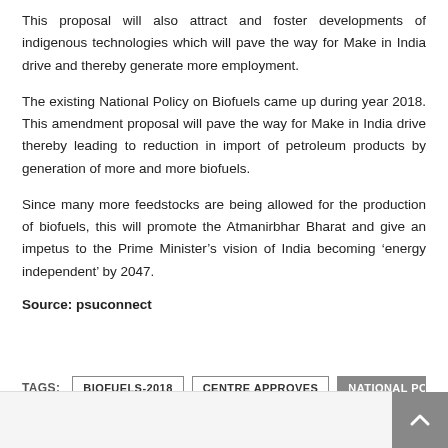This proposal will also attract and foster developments of indigenous technologies which will pave the way for Make in India drive and thereby generate more employment.
The existing National Policy on Biofuels came up during year 2018. This amendment proposal will pave the way for Make in India drive thereby leading to reduction in import of petroleum products by generation of more and more biofuels.
Since many more feedstocks are being allowed for the production of biofuels, this will promote the Atmanirbhar Bharat and give an impetus to the Prime Minister’s vision of India becoming ‘energy independent’ by 2047.
Source: psuconnect
TAGS: BIOFUELS-2018  CENTRE APPROVES  NATIONAL PO…